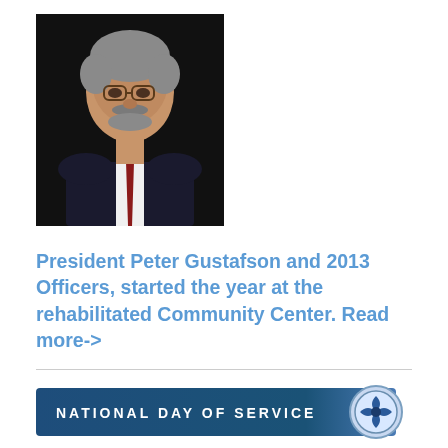[Figure (photo): Headshot of a middle-aged man with gray hair, glasses, mustache and beard, wearing a dark suit and red tie, against a dark background]
President Peter Gustafson and 2013 Officers, started the year at the rehabilitated Community Center. Read more->
[Figure (logo): National Day of Service banner with dark blue/teal background, white text reading 'NATIONAL DAY OF SERVICE', and a blue and white medallion/seal on the right]
January 19, 2013 was National Day of Service and Luckotts Puritan Club